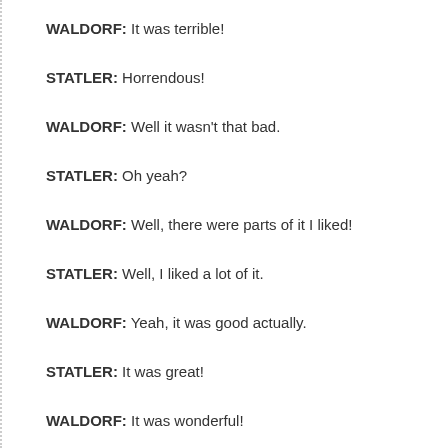WALDORF: It was terrible!
STATLER: Horrendous!
WALDORF: Well it wasn't that bad.
STATLER: Oh yeah?
WALDORF: Well, there were parts of it I liked!
STATLER: Well, I liked a lot of it.
WALDORF: Yeah, it was good actually.
STATLER: It was great!
WALDORF: It was wonderful!
STATLER: Yeah, bravo!
WALDORF: More!
STATLER: More!